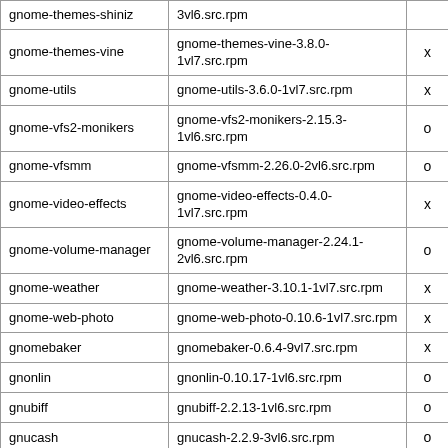| Package | Source RPM |  |
| --- | --- | --- |
| gnome-themes-shiniz | 3vl6.src.rpm |  |
| gnome-themes-vine | gnome-themes-vine-3.8.0-1vl7.src.rpm | x |
| gnome-utils | gnome-utils-3.6.0-1vl7.src.rpm | x |
| gnome-vfs2-monikers | gnome-vfs2-monikers-2.15.3-1vl6.src.rpm | o |
| gnome-vfsmm | gnome-vfsmm-2.26.0-2vl6.src.rpm | o |
| gnome-video-effects | gnome-video-effects-0.4.0-1vl7.src.rpm | x |
| gnome-volume-manager | gnome-volume-manager-2.24.1-2vl6.src.rpm | o |
| gnome-weather | gnome-weather-3.10.1-1vl7.src.rpm | x |
| gnome-web-photo | gnome-web-photo-0.10.6-1vl7.src.rpm | x |
| gnomebaker | gnomebaker-0.6.4-9vl7.src.rpm | x |
| gnonlin | gnonlin-0.10.17-1vl6.src.rpm | o |
| gnubiff | gnubiff-2.2.13-1vl6.src.rpm | o |
| gnucash | gnucash-2.2.9-3vl6.src.rpm | o |
| gnuchess | gnuchess-5.07-4vl6.src.rpm | o |
| gnupg | gnupg-1.4.14-1vl7.src.rpm | x |
| gnuplot | gnuplot-4.4.3-2vl7.src.rpm | x |
| gnutls | gnutls-2.12.23-2vl7.src.rpm | x |
| goobox | goobox-3.0.0-1vl7.src.rpm | x |
| goocanvas | goocanvas-2.0.1-1vl7.src.rpm | x |
| goocanvasmm | goocanvasmm-1.90.9-1vl7.src.rpm | x |